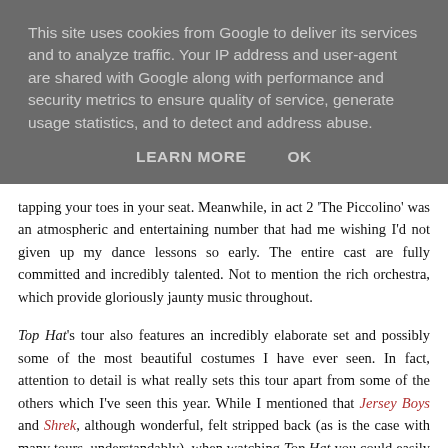This site uses cookies from Google to deliver its services and to analyze traffic. Your IP address and user-agent are shared with Google along with performance and security metrics to ensure quality of service, generate usage statistics, and to detect and address abuse.
LEARN MORE   OK
tapping your toes in your seat. Meanwhile, in act 2 'The Piccolino' was an atmospheric and entertaining number that had me wishing I'd not given up my dance lessons so early. The entire cast are fully committed and incredibly talented. Not to mention the rich orchestra, which provide gloriously jaunty music throughout.
Top Hat's tour also features an incredibly elaborate set and possibly some of the most beautiful costumes I have ever seen. In fact, attention to detail is what really sets this tour apart from some of the others which I've seen this year. While I mentioned that Jersey Boys and Shrek, although wonderful, felt stripped back (as is the case with many tours, understandably), when watching Top Hat you could easily believe that you'd been transported to the West End!